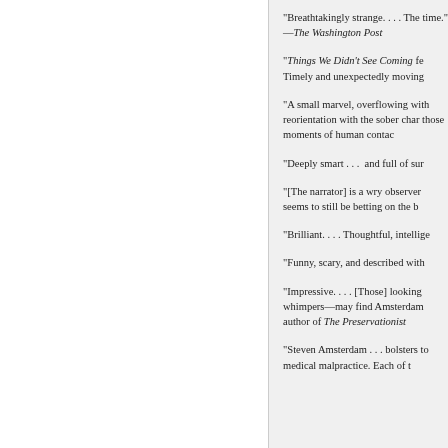“Breathtakingly strange. . . . The time.” —The Washington Post
“Things We Didn’t See Coming fe Timely and unexpectedly moving
“A small marvel, overflowing with reorientation with the sober char those moments of human contac
“Deeply smart . . .  and full of sur
“[The narrator] is a wry observer seems to still be betting on the b
“Brilliant. . . . Thoughtful, intellige
“Funny, scary, and described with
“Impressive. . . . [Those] looking whimpers—may find Amsterdam author of The Preservationist
“Steven Amsterdam . . . bolsters to medical malpractice. Each of t